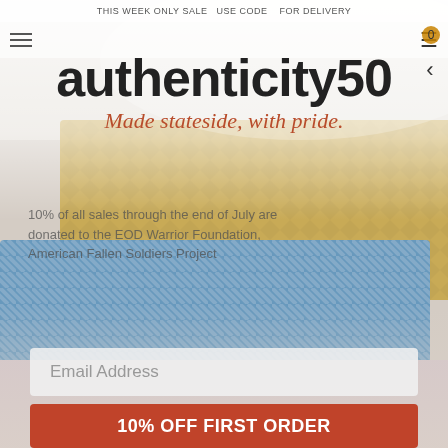[Figure (photo): Stack of folded textiles/blankets in blue-white stripe, yellow/gold herringbone, and pink/purple patterns on a light background]
THIS WEEK ONLY SALE USE CODE FOR DELIVERY
authenticity50
Made stateside, with pride.
10% of all sales through the end of July are donated to the EOD Warrior Foundation, American Fallen Soldiers Project
Email Address
10% OFF FIRST ORDER